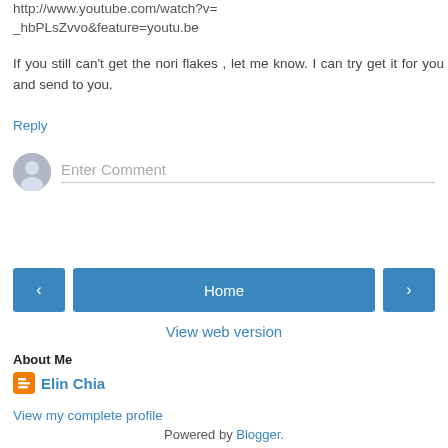http://www.youtube.com/watch?v=_hbPLsZvvo&feature=youtu.be
If you still can't get the nori flakes , let me know. I can try get it for you and send to you.
Reply
[Figure (other): User avatar placeholder circle with person silhouette, followed by Enter Comment input field]
[Figure (other): Navigation buttons: left arrow, Home button, right arrow]
View web version
About Me
Elin Chia
View my complete profile
Powered by Blogger.